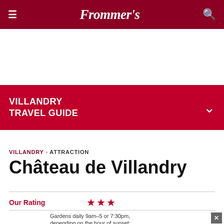Frommer's
VILLANDRY TRAVEL GUIDE
VILLANDRY › ATTRACTION
Château de Villandry
Our Rating ★★★
Gardens daily 9am–5 or 7:30pm, depending on the hour of sunset; château daily Feb, Oct and during the